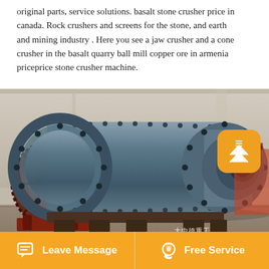original parts, service solutions. basalt stone crusher price in canada. Rock crushers and screens for the stone, and earth and mining industry . Here you see a jaw crusher and a cone crusher in the basalt quarry ball mill copper ore in armenia priceprice stone crusher machine.
[Figure (photo): A large industrial ball mill machine (cylindrical grinding mill) in a factory/warehouse setting. The machine is dark blue-grey with a large cylindrical drum body, flanged end caps with bolts, and an orange-red ring gear visible on the left side. The machine sits on a red painted base frame on a concrete floor.]
Leave Message   Free Service